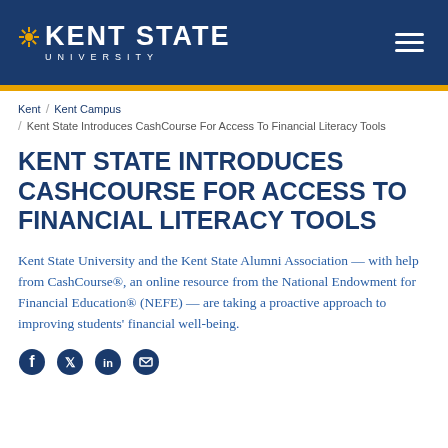KENT STATE UNIVERSITY
Kent / Kent Campus / Kent State Introduces CashCourse For Access To Financial Literacy Tools
KENT STATE INTRODUCES CASHCOURSE FOR ACCESS TO FINANCIAL LITERACY TOOLS
Kent State University and the Kent State Alumni Association — with help from CashCourse®, an online resource from the National Endowment for Financial Education® (NEFE) — are taking a proactive approach to improving students' financial well-being.